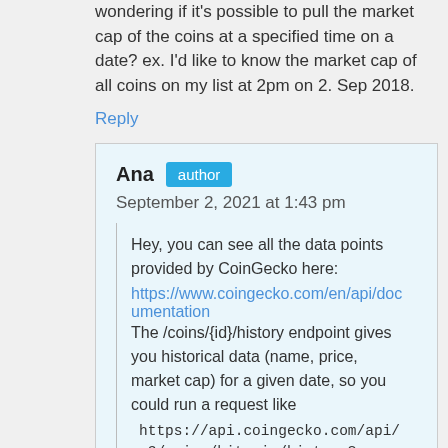wondering if it's possible to pull the market cap of the coins at a specified time on a date? ex. I'd like to know the market cap of all coins on my list at 2pm on 2. Sep 2018.
Reply
Ana  author
September 2, 2021 at 1:43 pm
Hey, you can see all the data points provided by CoinGecko here:
https://www.coingecko.com/en/api/documentation
The /coins/{id}/history endpoint gives you historical data (name, price, market cap) for a given date, so you could run a request like
https://api.coingecko.com/api/v3/coins/bitcoin/history?date=02-09-2018
They don't let you specify an hour